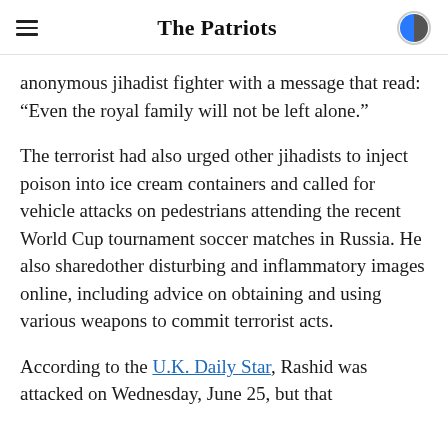The Patriots
anonymous jihadist fighter with a message that read: “Even the royal family will not be left alone.”
The terrorist had also urged other jihadists to inject poison into ice cream containers and called for vehicle attacks on pedestrians attending the recent World Cup tournament soccer matches in Russia. He also sharedother disturbing and inflammatory images online, including advice on obtaining and using various weapons to commit terrorist acts.
According to the U.K. Daily Star, Rashid was attacked on Wednesday, June 25, but that